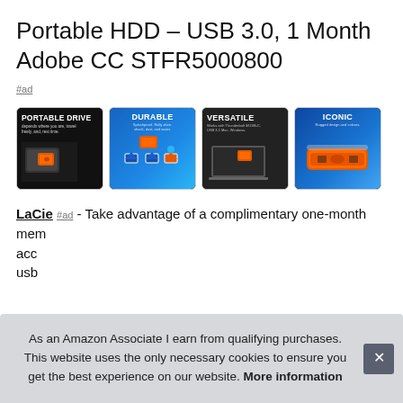Portable HDD – USB 3.0, 1 Month Adobe CC STFR5000800
#ad
[Figure (photo): Four product thumbnails showing a LaCie Rugged portable HDD: 1) 'PORTABLE DRIVE' on dark background with orange HDD in bag, 2) 'DURABLE' on blue background with icons, 3) 'VERSATILE' on dark background with laptop, 4) 'ICONIC' on blue background with orange HDD device]
LaCie #ad - Take advantage of a complimentary one-month membership… acc… usb…
As an Amazon Associate I earn from qualifying purchases. This website uses the only necessary cookies to ensure you get the best experience on our website. More information